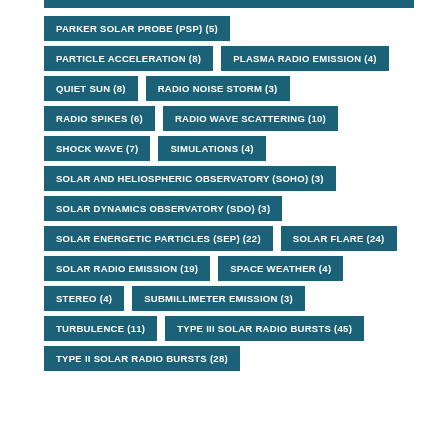PARKER SOLAR PROBE (PSP) (5)
PARTICLE ACCELERATION (8)
PLASMA RADIO EMISSION (4)
QUIET SUN (8)
RADIO NOISE STORM (3)
RADIO SPIKES (6)
RADIO WAVE SCATTERING (10)
SHOCK WAVE (7)
SIMULATIONS (4)
SOLAR AND HELIOSPHERIC OBSERVATORY (SOHO) (3)
SOLAR DYNAMICS OBSERVATORY (SDO) (3)
SOLAR ENERGETIC PARTICLES (SEP) (22)
SOLAR FLARE (24)
SOLAR RADIO EMISSION (19)
SPACE WEATHER (4)
STEREO (4)
SUBMILLIMETER EMISSION (3)
TURBULENCE (11)
TYPE III SOLAR RADIO BURSTS (45)
TYPE II SOLAR RADIO BURSTS (28)